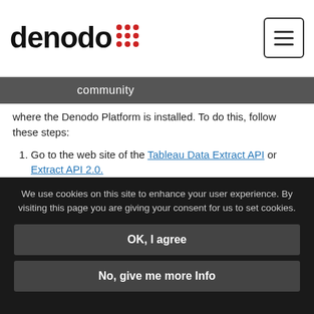denodo [logo] | community | [menu button]
where the Denodo Platform is installed. To do this, follow these steps:
1. Go to the web site of the Tableau Data Extract API or Extract API 2.0.
2. In this page, sign in and download the package C/C++/Java 64-bit version. Select Windows or Linux depending on the operating system where the Denodo server runs.
3. Decompress the downloaded file.
We use cookies on this site to enhance your user experience. By visiting this page you are giving your consent for us to set cookies.
OK, I agree
No, give me more Info